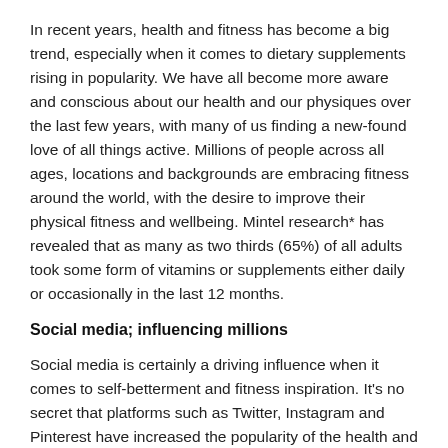In recent years, health and fitness has become a big trend, especially when it comes to dietary supplements rising in popularity. We have all become more aware and conscious about our health and our physiques over the last few years, with many of us finding a new-found love of all things active. Millions of people across all ages, locations and backgrounds are embracing fitness around the world, with the desire to improve their physical fitness and wellbeing. Mintel research* has revealed that as many as two thirds (65%) of all adults took some form of vitamins or supplements either daily or occasionally in the last 12 months.
Social media; influencing millions
Social media is certainly a driving influence when it comes to self-betterment and fitness inspiration. It’s no secret that platforms such as Twitter, Instagram and Pinterest have increased the popularity of the health and fitness industry, with many celebrities and social media influencers introducing users to new fitness regimes and health supplements, highlighting the benefits that they have had on their own physical and mental health.